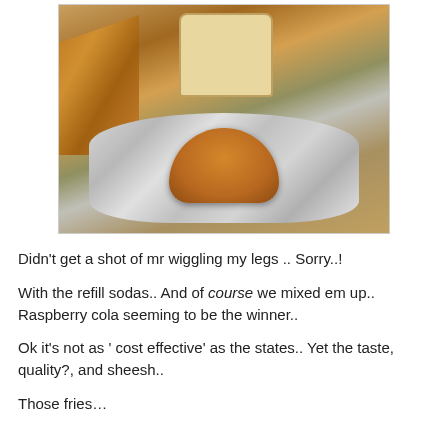[Figure (photo): Overhead shot of a burger wrapped in foil, surrounded by fries, peanuts, and other food items on a table — appears to be from Five Guys restaurant]
Didn't get a shot of mr wiggling my legs .. Sorry..!
With the refill sodas.. And of course we mixed em up.. Raspberry cola seeming to be the winner..
Ok it's not as ' cost effective' as the states.. Yet the taste, quality?, and sheesh..
Those fries…